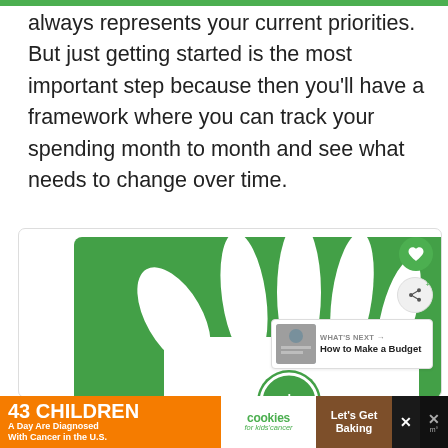always represents your current priorities. But just getting started is the most important step because then you'll have a framework where you can track your spending month to month and see what needs to change over time.
[Figure (logo): Mint app logo on green background with white hand/dollar sign icon, with UI overlay elements including heart button, share button, up-arrow button, and a 'What's Next: How to Make a Budget' card]
[Figure (infographic): Advertisement banner: '43 CHILDREN A Day Are Diagnosed With Cancer in the U.S.' with cookies for kids' cancer logo and 'Let's Get Baking' call to action]